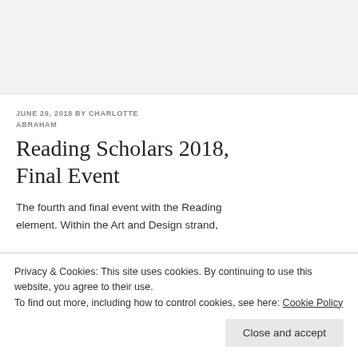JUNE 29, 2018 BY CHARLOTTE ABRAHAM
Reading Scholars 2018, Final Event
The fourth and final event with the Reading
Privacy & Cookies: This site uses cookies. By continuing to use this website, you agree to their use.
To find out more, including how to control cookies, see here: Cookie Policy
element. Within the Art and Design strand,